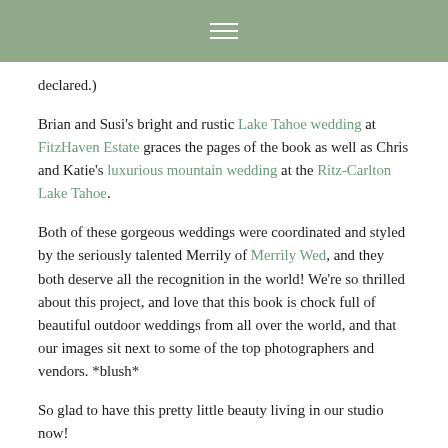≡
declared.)
Brian and Susi's bright and rustic Lake Tahoe wedding at FitzHaven Estate graces the pages of the book as well as Chris and Katie's luxurious mountain wedding at the Ritz-Carlton Lake Tahoe.
Both of these gorgeous weddings were coordinated and styled by the seriously talented Merrily of Merrily Wed, and they both deserve all the recognition in the world! We're so thrilled about this project, and love that this book is chock full of beautiful outdoor weddings from all over the world, and that our images sit next to some of the top photographers and vendors. *blush*
So glad to have this pretty little beauty living in our studio now!